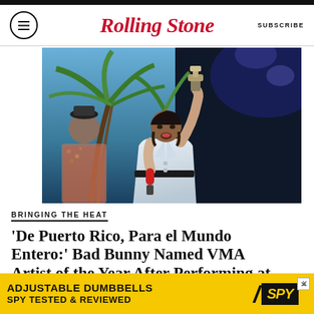Rolling Stone  SUBSCRIBE
[Figure (photo): A performer in a white suit holding up an award trophy in one hand and a microphone in the other, singing on stage. A person in a patterned jacket stands behind him to the left. Palm trees are visible in the background against a dark stage backdrop.]
BRINGING THE HEAT
'De Puerto Rico, Para el Mundo Entero:' Bad Bunny Named VMA Artist of the Year After Performing at
[Figure (screenshot): Advertisement banner: ADJUSTABLE DUMBBELLS SPY TESTED & REVIEWED with SPY logo on yellow background]